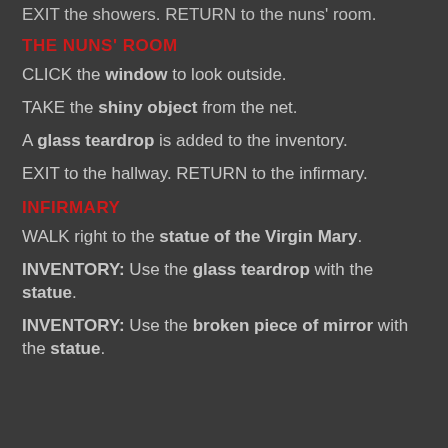EXIT the showers. RETURN to the nuns' room.
THE NUNS' ROOM
CLICK the window to look outside.
TAKE the shiny object from the net.
A glass teardrop is added to the inventory.
EXIT to the hallway. RETURN to the infirmary.
INFIRMARY
WALK right to the statue of the Virgin Mary.
INVENTORY: Use the glass teardrop with the statue.
INVENTORY: Use the broken piece of mirror with the statue.